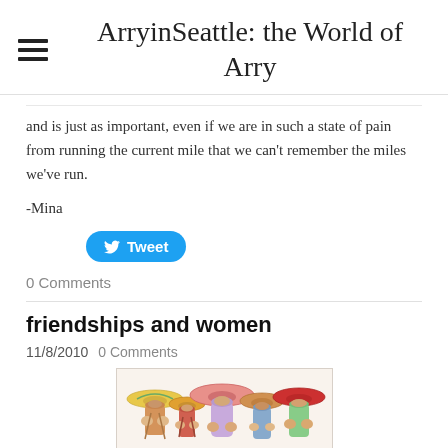ArryinSeattle: the World of Arry
and is just as important, even if we are in such a state of pain from running the current mile that we can't remember the miles we've run.
-Mina
[Figure (screenshot): Tweet button (Twitter/X social share button)]
0 Comments
friendships and women
11/8/2010  0 Comments
[Figure (illustration): Illustration of several women seen from behind wearing colorful wide-brim hats and summer attire]